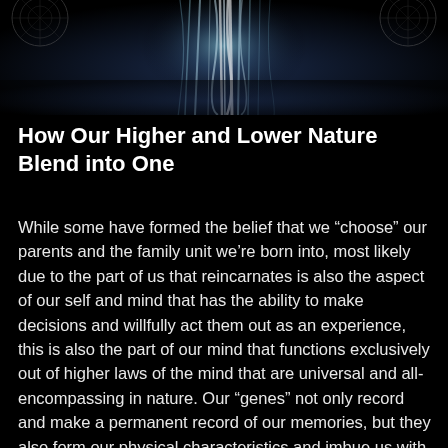[Figure (illustration): Abstract digital art image at the top of the page showing swirling blue and white patterns against a dark background, with geometric mandala-like designs visible in the corners. A central human or angelic figure-like form is suggested by the light patterns.]
How Our Higher and Lower Nature Blend into One
While some have formed the belief that we “choose” our parents and the family unit we’re born into, most likely due to the part of us that reincarnates is also the aspect of our self and mind that has the ability to make decisions and willfully act them out as an experience, this is also the part of our mind that functions exclusively out of higher laws of the mind that are universal and all-encompassing in nature. Our “genes” not only record and make a permanent record of our memories, but they also form our physical characteristics and imbue us with natural behaviors and tendencies derived from our ancestral lineage. When we come into a physical body, we do